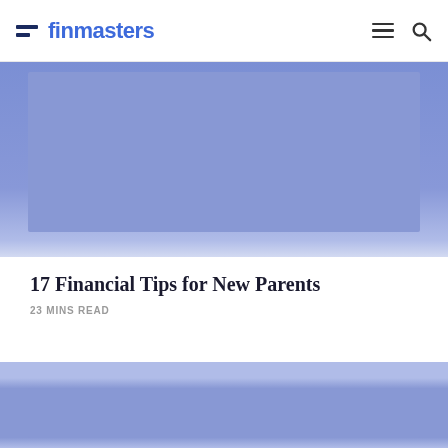finmasters
[Figure (photo): Blue/purple placeholder image for article about 17 Financial Tips for New Parents]
17 Financial Tips for New Parents
23 MINS READ
[Figure (photo): Blue/purple placeholder image for a second article card, partially visible]